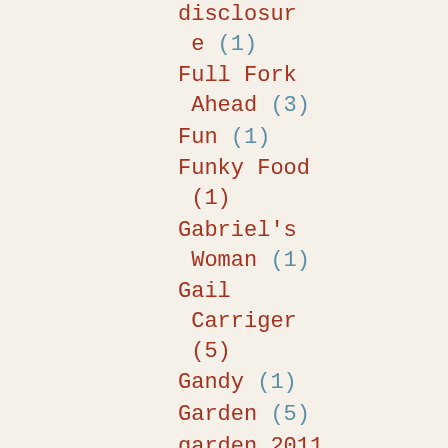disclosure (1)
Full Fork Ahead (3)
Fun (1)
Funky Food (1)
Gabriel's Woman (1)
Gail Carriger (5)
Gandy (1)
Garden (5)
garden 2011 (1)
garden update